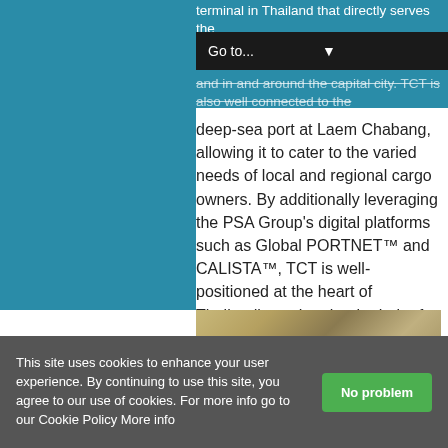terminal in Thailand that directly serves the … and in and around the capital city. TCT is also well connected to the deep-sea port at Laem Chabang, allowing it to cater to the varied needs of local and regional cargo owners. By additionally leveraging the PSA Group's digital platforms such as Global PORTNET™ and CALISTA™, TCT is well-positioned at the heart of Thailand's push to be the hub of regional connectivity, both physically and digitally.
[Figure (photo): Signing ceremony banner showing SCG Logistics and PSA logos with text 'SIGNING CEREMONY OF SHAREHOLDERS' AGREEMENT Between']
This site uses cookies to enhance your user experience. By continuing to use this site, you agree to our use of cookies. For more info go to our Cookie Policy More info